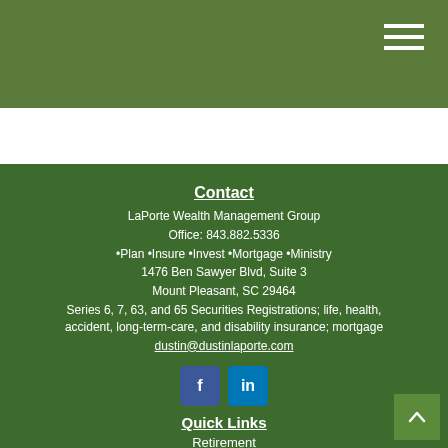LaPorte Wealth Management Group header with hamburger menu
Contact
LaPorte Wealth Management Group
Office: 843.882.5336
•Plan •Insure •Invest •Mortgage •Ministry
1476 Ben Sawyer Blvd, Suite 3
Mount Pleasant, SC 29464
Series 6, 7, 63, and 65 Securities Registrations; life, health, accident, long-term-care, and disability insurance; mortgage
dustin@dustinlaporte.com
[Figure (illustration): Facebook and LinkedIn social media icon buttons]
Quick Links
Retirement